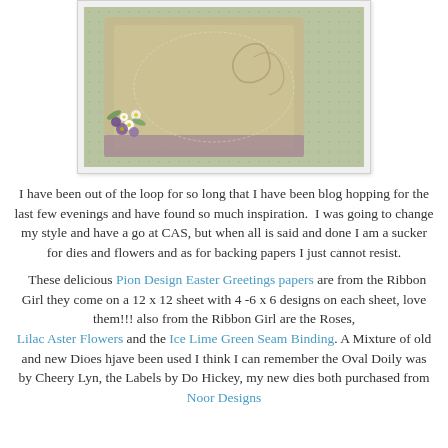[Figure (photo): A decorated handmade craft item (appears to be a box or card) with floral embellishments including purple and white flowers, on a light background.]
I have been out of the loop for so long that I have been blog hopping for the last few evenings and have found so much inspiration.  I was going to change my style and have a go at CAS, but when all is said and done I am a sucker for dies and flowers and as for backing papers I just cannot resist.
These delicious Pion Design Easter Greetings papers are from the Ribbon Girl they come on a 12 x 12 sheet with 4 -6 x 6 designs on each sheet, love them!!! also from the Ribbon Girl are the Roses, Lilac Aster Flowers and the Ice Lime Green Seam Binding. A Mixture of old and new Dioes hjave been used I think I can remember the Oval Doily was by Cheery Lyn, the Labels by Do Hickey, my new dies both purchased from Noor Designs